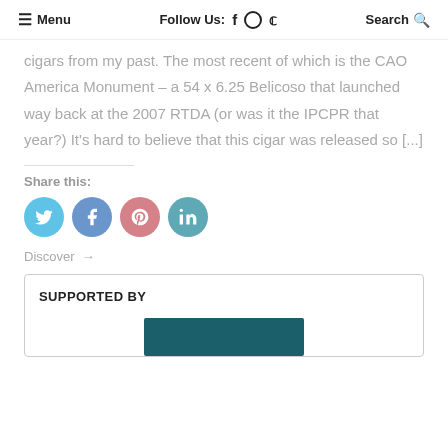≡ Menu   Follow Us: f ⊙ 𝕎   Search 🔍
cigars from my past. The most recent of which is the CAO America Monument – a 54 x 6.25 Belicoso that launched way back at the 2007 RTDA (or was it the IPCPR that year?) It's hard to believe that this cigar was released so [...]
Share this:
[Figure (infographic): Four social media share buttons: Twitter (light blue), Facebook (blue), Pinterest (pink/red), LinkedIn (teal)]
Discover →
SUPPORTED BY
[Figure (photo): Dark teal advertisement banner (partially visible)]